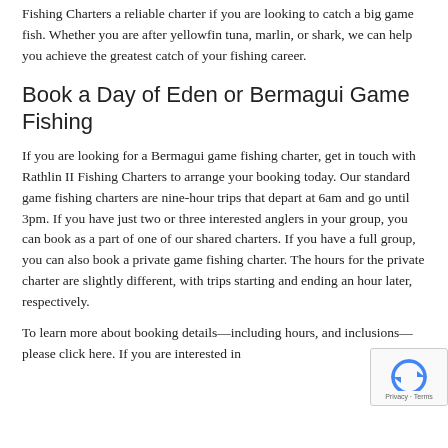Fishing Charters a reliable charter if you are looking to catch a big game fish. Whether you are after yellowfin tuna, marlin, or shark, we can help you achieve the greatest catch of your fishing career.
Book a Day of Eden or Bermagui Game Fishing
If you are looking for a Bermagui game fishing charter, get in touch with Rathlin II Fishing Charters to arrange your booking today. Our standard game fishing charters are nine-hour trips that depart at 6am and go until 3pm. If you have just two or three interested anglers in your group, you can book as a part of one of our shared charters. If you have a full group, you can also book a private game fishing charter. The hours for the private charter are slightly different, with trips starting and ending an hour later, respectively.
To learn more about booking details—including hours, and inclusions—please click here. If you are interested in
[Figure (other): reCAPTCHA privacy badge showing recycling arrow icon and Privacy · Terms text]